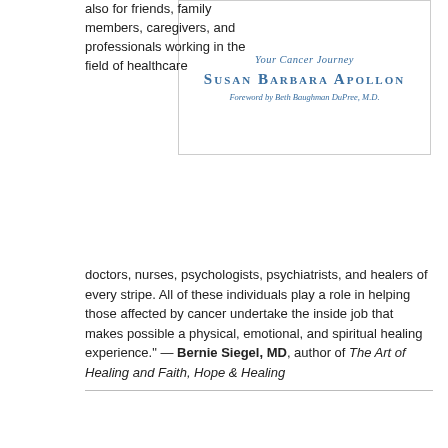[Figure (illustration): Book cover image showing 'Your Cancer Journey' by Susan Barbara Apollon, with foreword by Beth Baughman DuPree, M.D. Blue text on white background with border.]
also for friends, family members, caregivers, and professionals working in the field of healthcare doctors, nurses, psychologists, psychiatrists, and healers of every stripe. All of these individuals play a role in helping those affected by cancer undertake the inside job that makes possible a physical, emotional, and spiritual healing experience." — Bernie Siegel, MD, author of The Art of Healing and Faith, Hope & Healing
More Info»
Buy The Book»